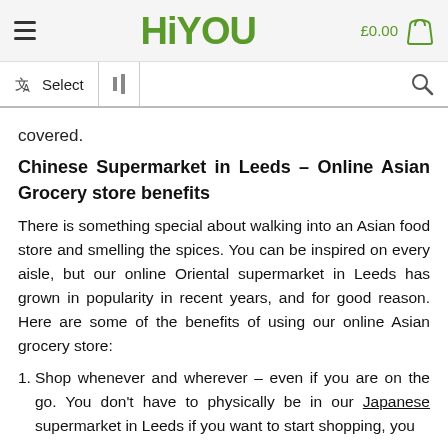HiYou - £0.00 [cart]
Select [language icon] [filter icon] [search icon]
covered.
Chinese Supermarket in Leeds – Online Asian Grocery store benefits
There is something special about walking into an Asian food store and smelling the spices. You can be inspired on every aisle, but our online Oriental supermarket in Leeds has grown in popularity in recent years, and for good reason. Here are some of the benefits of using our online Asian grocery store:
1. Shop whenever and wherever – even if you are on the go. You don't have to physically be in our Japanese supermarket in Leeds if you want to start shopping, you